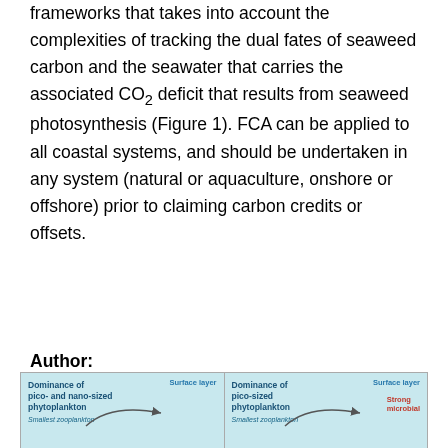frameworks that takes into account the complexities of tracking the dual fates of seaweed carbon and the seawater that carries the associated CO₂ deficit that results from seaweed photosynthesis (Figure 1). FCA can be applied to all coastal systems, and should be undertaken in any system (natural or aquaculture, onshore or offshore) prior to claiming carbon credits or offsets.
Author:
Catriona L. Hurd (Institute for Marine and Antarctic Studies, University of Tasmania)
[Figure (illustration): Bottom strip showing two side-by-side diagram panels about dominance of phytoplankton. Left panel: 'Dominance of pico- and nano-sized phytoplankton' with 'Surface layer' label, 'Smallest zooplankton' label and a curved arrow. Right panel: 'Dominance of pico-sized phytoplankton' with 'Surface layer', 'Smallest zooplankton', and 'Strong microbial' labels with a curved arrow.]